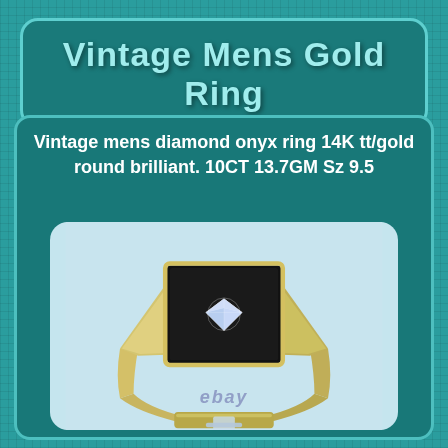Vintage Mens Gold Ring
Vintage mens diamond onyx ring 14K tt/gold round brilliant. 10CT 13.7GM Sz 9.5
[Figure (photo): Photograph of a vintage mens 14K yellow gold ring with black onyx and round brilliant diamond center stone, shown on a clear display stand. eBay watermark visible.]